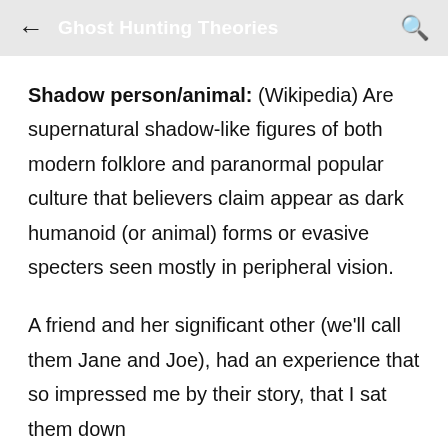Ghost Hunting Theories
Shadow person/animal: (Wikipedia) Are supernatural shadow-like figures of both modern folklore and paranormal popular culture that believers claim appear as dark humanoid (or animal) forms or evasive specters seen mostly in peripheral vision.
A friend and her significant other (we'll call them Jane and Joe), had an experience that so impressed me by their story, that I sat them down